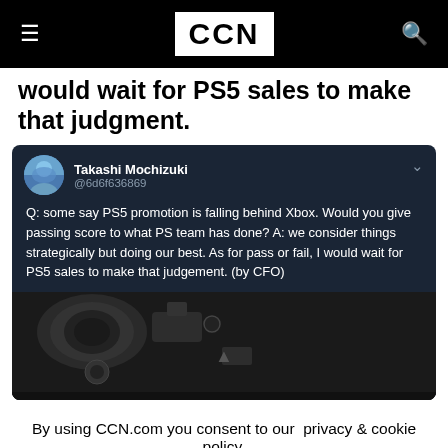CCN
would wait for PS5 sales to make that judgment.
[Figure (screenshot): Tweet from Takashi Mochizuki (@6d6f636869) reading: Q: some say PS5 promotion is falling behind Xbox. Would you give passing score to what PS team has done? A: we consider things strategically but doing our best. As for pass or fail, I would wait for PS5 sales to make that judgement. (by CFO). Below the tweet text is a partial photo of a camera body.]
By using CCN.com you consent to our privacy & cookie policy.
Continue